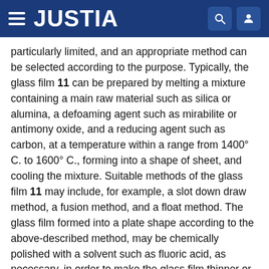JUSTIA
particularly limited, and an appropriate method can be selected according to the purpose. Typically, the glass film 11 can be prepared by melting a mixture containing a main raw material such as silica or alumina, a defoaming agent such as mirabilite or antimony oxide, and a reducing agent such as carbon, at a temperature within a range from 1400° C. to 1600° C., forming into a shape of sheet, and cooling the mixture. Suitable methods of the glass film 11 may include, for example, a slot down draw method, a fusion method, and a float method. The glass film formed into a plate shape according to the above-described method, may be chemically polished with a solvent such as fluoric acid, as necessary, in order to make the glass film thinner or enhance the smoothness.
The width Lt of the resin tape 12 is, for example, within a